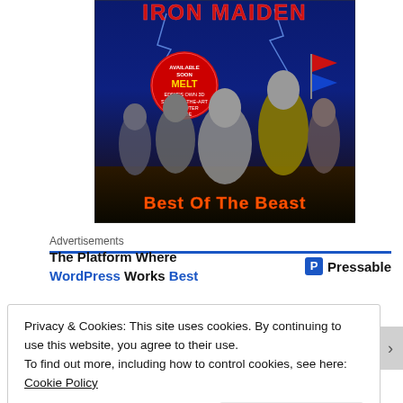[Figure (illustration): Iron Maiden 'Best Of The Beast' album cover art showing Eddie and other monsters with Iron Maiden logo at top, red circular badge reading 'AVAILABLE SOON MELT EDDIE'S OWN 3D STATE-OF-THE-ART COMPUTER GAME', and 'Best Of The Beast' text at bottom in orange/red.]
Advertisements
The Platform Where WordPress Works Best | Pressable
Privacy & Cookies: This site uses cookies. By continuing to use this website, you agree to their use.
To find out more, including how to control cookies, see here: Cookie Policy
Close and accept